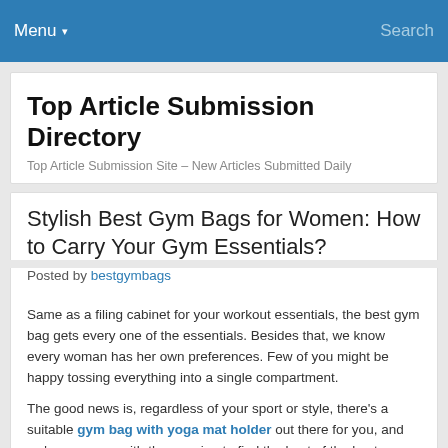Menu ▾   Search
Top Article Submission Directory
Top Article Submission Site – New Articles Submitted Daily
Stylish Best Gym Bags for Women: How to Carry Your Gym Essentials?
Posted by bestgymbags
Same as a filing cabinet for your workout essentials, the best gym bag gets every one of the essentials. Besides that, we know every woman has her own preferences. Few of you might be happy tossing everything into a single compartment.
The good news is, regardless of your sport or style, there's a suitable gym bag with yoga mat holder out there for you, and we've come up with the genuine to find the best of the best.
Eight Stylish Best Gym Bags for Women